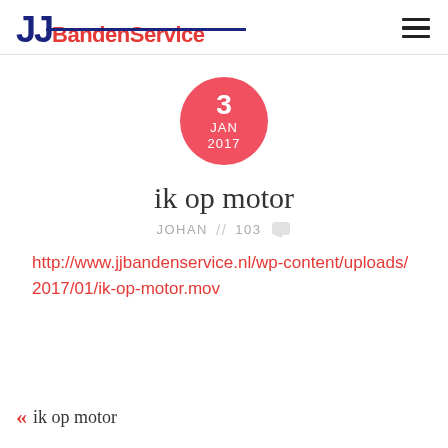JJ BandenService
[Figure (other): Date badge circle showing '3 JAN 2017' in white text on red/coral background]
ik op motor
JOHAN // 103
http://www.jjbandenservice.nl/wp-content/uploads/2017/01/ik-op-motor.mov
« ik op motor